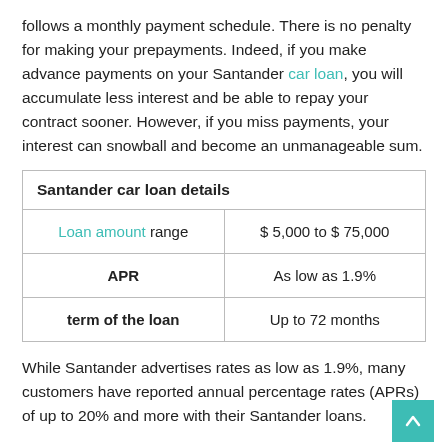follows a monthly payment schedule. There is no penalty for making your prepayments. Indeed, if you make advance payments on your Santander car loan, you will accumulate less interest and be able to repay your contract sooner. However, if you miss payments, your interest can snowball and become an unmanageable sum.
| Santander car loan details |  |
| --- | --- |
| Loan amount range | $ 5,000 to $ 75,000 |
| APR | As low as 1.9% |
| term of the loan | Up to 72 months |
While Santander advertises rates as low as 1.9%, many customers have reported annual percentage rates (APRs) of up to 20% and more with their Santander loans.